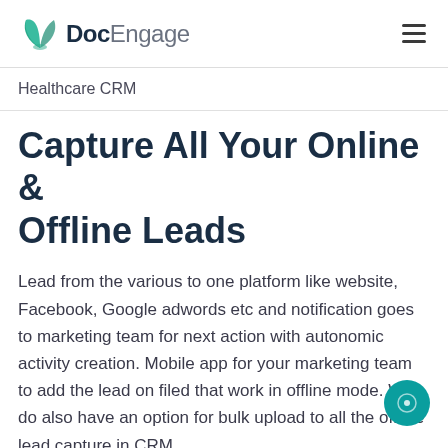DocEngage
Healthcare CRM
Capture All Your Online & Offline Leads
Lead from the various to one platform like website, Facebook, Google adwords etc and notification goes to marketing team for next action with autonomic activity creation. Mobile app for your marketing team to add the lead on filed that work in offline mode. We do also have an option for bulk upload to all the offline lead capture in CRM.